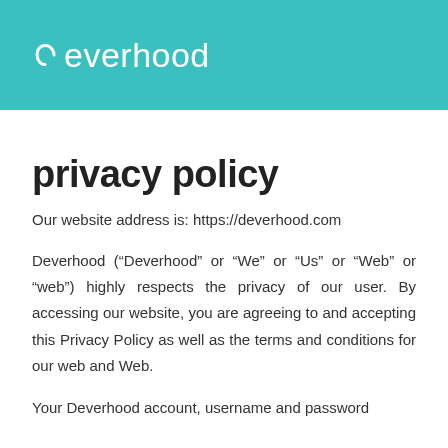Deverhood
privacy policy
Our website address is: https://deverhood.com
Deverhood (“Deverhood” or “We” or “Us” or “Web” or “web”) highly respects the privacy of our user. By accessing our website, you are agreeing to and accepting this Privacy Policy as well as the terms and conditions for our web and Web.
Your Deverhood account, username and password